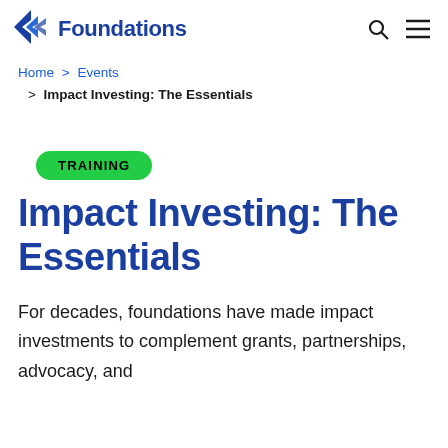Council on Foundations
Home > Events > Impact Investing: The Essentials
TRAINING
Impact Investing: The Essentials
For decades, foundations have made impact investments to complement grants, partnerships, advocacy, and